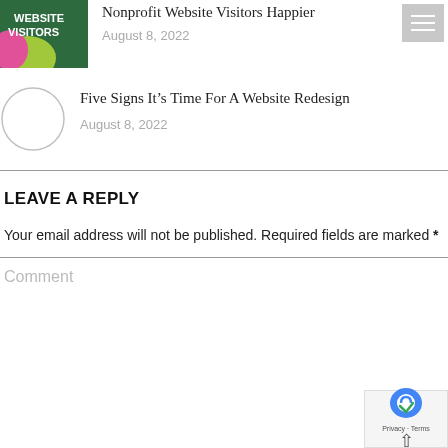[Figure (photo): Colorful graphic with text 'Website Visitors' on green and pink background]
Nonprofit Website Visitors Happier
August 8, 2022
[Figure (photo): Circular thumbnail placeholder (empty circle)]
Five Signs It’s Time For A Website Redesign
August 8, 2022
LEAVE A REPLY
Your email address will not be published. Required fields are marked *
Comment